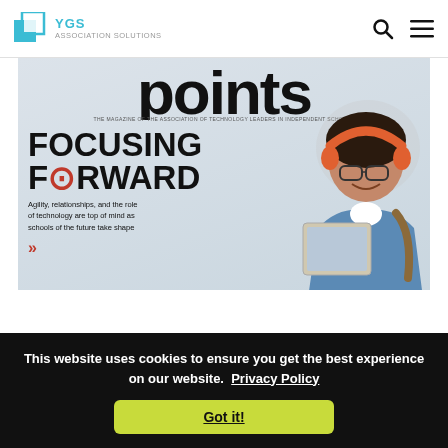[Figure (logo): YGS Association Solutions logo with teal square icon]
[Figure (screenshot): Magazine cover for 'points - The Magazine of the Association of Technology Leaders in Independent Schools' featuring a student with orange headphones and tablet, with headline FOCUSING FORWARD and subtext: Agility, relationships, and the role of technology are top of mind as schools of the future take shape]
This website uses cookies to ensure you get the best experience on our website.  Privacy Policy
Got it!